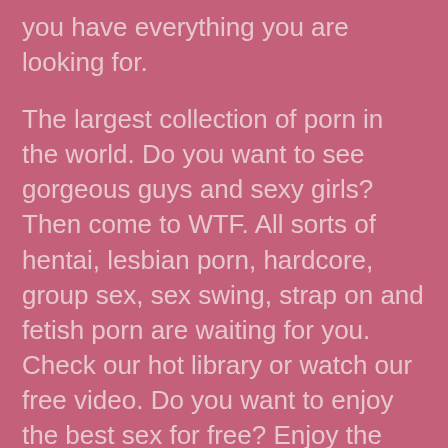you have everything you are looking for.
The largest collection of porn in the world. Do you want to see gorgeous guys and sexy girls? Then come to WTF. All sorts of hentai, lesbian porn, hardcore, group sex, sex swing, strap on and fetish porn are waiting for you. Check our hot library or watch our free video. Do you want to enjoy the best sex for free? Enjoy the best categories of the prone. Blacks, milfs, mature, chubby, lesbians. All the porn you need in our porn site. Get on the action and have a free orgasm. Enjoy!
You are watching a very hot video! Want to see it for free? Just visit our sex erotic big catalog. The videos are going to blow your mind. You are going to watch your video for free and that's all. We offer the full range of sexy videos and hardcore porn. You see